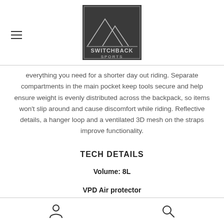[Figure (logo): Switchback Sports logo: dark square with mountain outline illustration and text 'SWITCHBACK SPORTS']
everything you need for a shorter day out riding. Separate compartments in the main pocket keep tools secure and help ensure weight is evenly distributed across the backpack, so items won't slip around and cause discomfort while riding. Reflective details, a hanger loop and a ventilated 3D mesh on the straps improve functionality.
TECH DETAILS
Volume: 8L
VPD Air protector
User icon | Search icon